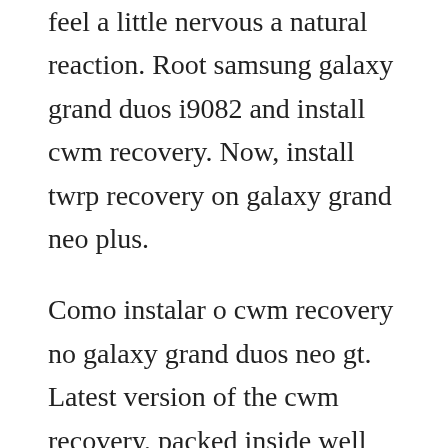feel a little nervous a natural reaction. Root samsung galaxy grand duos i9082 and install cwm recovery. Now, install twrp recovery on galaxy grand neo plus.
Como instalar o cwm recovery no galaxy grand duos neo gt. Latest version of the cwm recovery, packed inside well known philz advanced edition is available now and should resolve all the compatibility issues. Download lineage os for galaxy grand duos nougat 7. In case you were looking for the latest custom rom for galaxy grand then this page might be helpful to you. This page brings available